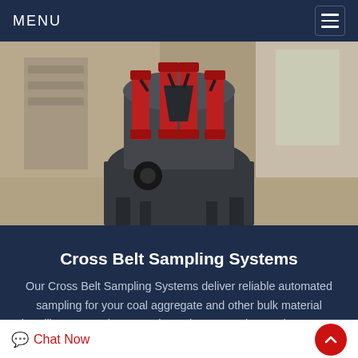MENU
[Figure (photo): Industrial cross belt sampling machine with red pneumatic cylinders mounted on a grey circular body, photographed in an industrial facility]
Cross Belt Sampling Systems
Our Cross Belt Sampling Systems deliver reliable automated sampling for your coal aggregate and other bulk material handling processing operations These samplers and support...
Chat Now